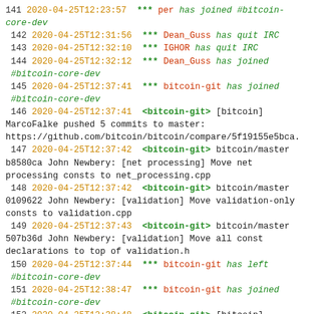141 2020-04-25T12:23:57 *** per has joined #bitcoin-core-dev
142 2020-04-25T12:31:56 *** Dean_Guss has quit IRC
143 2020-04-25T12:32:10 *** IGHOR has quit IRC
144 2020-04-25T12:32:12 *** Dean_Guss has joined #bitcoin-core-dev
145 2020-04-25T12:37:41 *** bitcoin-git has joined #bitcoin-core-dev
146 2020-04-25T12:37:41 <bitcoin-git> [bitcoin] MarcoFalke pushed 5 commits to master: https://github.com/bitcoin/bitcoin/compare/5f19155e5bca.
147 2020-04-25T12:37:42 <bitcoin-git> bitcoin/master b8580ca John Newbery: [net processing] Move net processing consts to net_processing.cpp
148 2020-04-25T12:37:42 <bitcoin-git> bitcoin/master 0109622 John Newbery: [validation] Move validation-only consts to validation.cpp
149 2020-04-25T12:37:43 <bitcoin-git> bitcoin/master 507b36d John Newbery: [validation] Move all const declarations to top of validation.h
150 2020-04-25T12:37:44 *** bitcoin-git has left #bitcoin-core-dev
151 2020-04-25T12:38:47 *** bitcoin-git has joined #bitcoin-core-dev
152 2020-04-25T12:38:48 <bitcoin-git> [bitcoin] MarcoFalke merged pull request #17383: Refactor: Move consts to their correct translation units (master...2019-11-net-processing-consts)